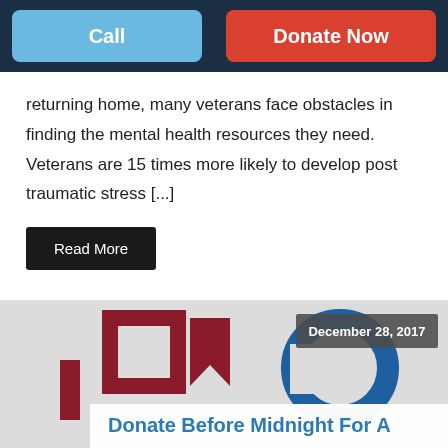Call | Donate Now
returning home, many veterans face obstacles in finding the mental health resources they need. Veterans are 15 times more likely to develop post traumatic stress [...]
Read More
[Figure (logo): Organization logo with dark red angular shapes and blue circular element, with date badge 'December 28, 2017']
Donate Before Midnight For A